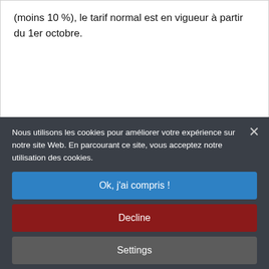(moins 10 %), le tarif normal est en vigueur à partir du 1er octobre.
[Figure (screenshot): Cookie consent overlay modal with dark background, showing accept (blue), decline (red), settings (grey), and more info (teal-grey) buttons, with close X button in top right corner]
[Figure (photo): Partial view of people sitting around a table with wine glasses and small black decorative items, marble table surface visible]
[Figure (other): Navigation dots row at bottom, 8 grey circles]